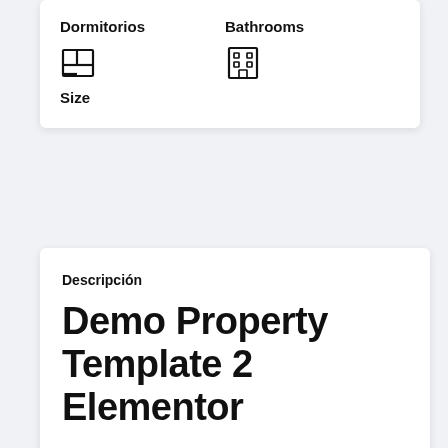Dormitorios
Bathrooms
[Figure (illustration): Floor plan icon (rooms grid)]
[Figure (illustration): Building/office icon]
Size
Descripción
Demo Property Template 2 Elementor
Facebook
Twitter
[Figure (illustration): Envelope/email icon]
[Figure (illustration): Up caret/chevron icon]